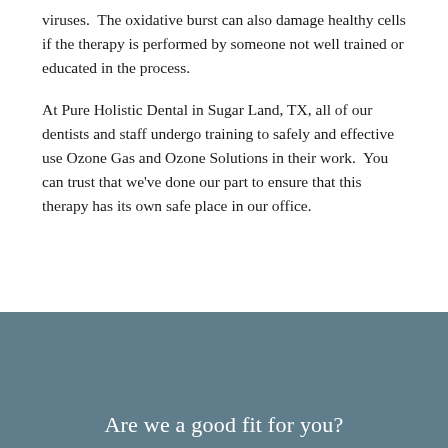viruses.  The oxidative burst can also damage healthy cells if the therapy is performed by someone not well trained or educated in the process.
At Pure Holistic Dental in Sugar Land, TX, all of our dentists and staff undergo training to safely and effective use Ozone Gas and Ozone Solutions in their work.  You can trust that we've done our part to ensure that this therapy has its own safe place in our office.
Are we a good fit for you?